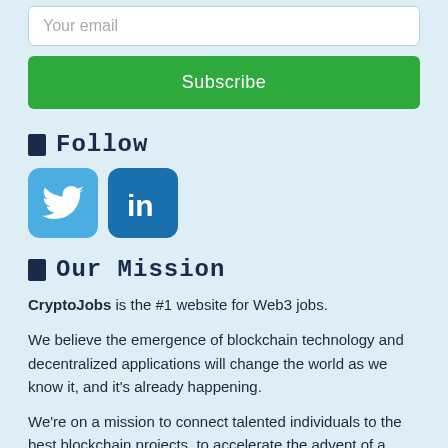Your email
Subscribe
🔲 Follow
[Figure (logo): Twitter bird logo icon, light blue rounded square]
[Figure (logo): LinkedIn 'in' logo icon, dark blue rounded square]
🔲 Our Mission
CryptoJobs is the #1 website for Web3 jobs.
We believe the emergence of blockchain technology and decentralized applications will change the world as we know it, and it's already happening.
We're on a mission to connect talented individuals to the best blockchain projects, to accelerate the advent of a more decentralized world.